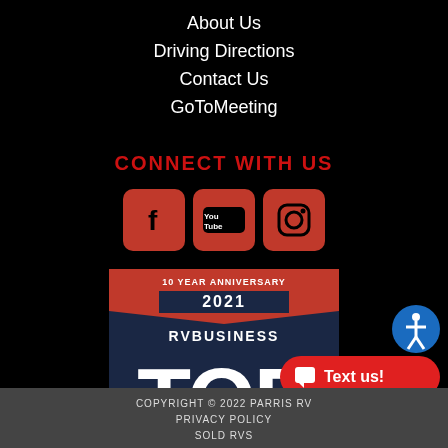About Us
Driving Directions
Contact Us
GoToMeeting
CONNECT WITH US
[Figure (logo): Social media icons: Facebook (red rounded square with f), YouTube (red rounded square with YouTube play button), Instagram (red rounded square with camera icon)]
[Figure (logo): RV Business Top 50 Dealer Awards badge - 10 Year Anniversary 2021, showing TOP 50 in large blue letters on dark background with red banner]
COPYRIGHT © 2022 PARRIS RV
PRIVACY POLICY
SOLD RVS